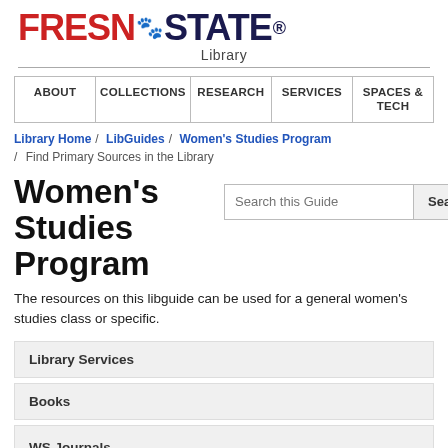[Figure (logo): Fresno State University Library logo with red FRESNO text, paw print icon, dark blue STATE text, and Library subtitle]
ABOUT | COLLECTIONS | RESEARCH | SERVICES | SPACES & TECH
Library Home / LibGuides / Women's Studies Program / Find Primary Sources in the Library
Women's Studies Program
The resources on this libguide can be used for a general women's studies class or specific.
Library Services
Books
WS Journals
Articles